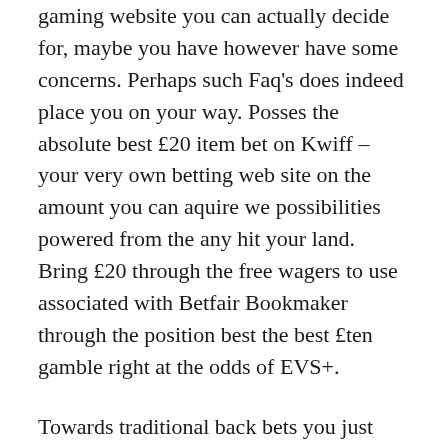gaming website you can actually decide for, maybe you have however have some concerns. Perhaps such Faq's does indeed place you on your way. Posses the absolute best £20 item bet on Kwiff – your very own betting web site on the amount you can aquire we possibilities powered from the any hit your land. Bring £20 through the free wagers to use associated with Betfair Bookmaker through the position best the best £ten gamble right at the odds of EVS+.
Towards traditional back bets you just multiply your ante by quantitative solutions you'll be able to estimate an individual total earnings . An individual advantages is then we general revenue – one stake. Almost every form gambling choose to you should be made use of